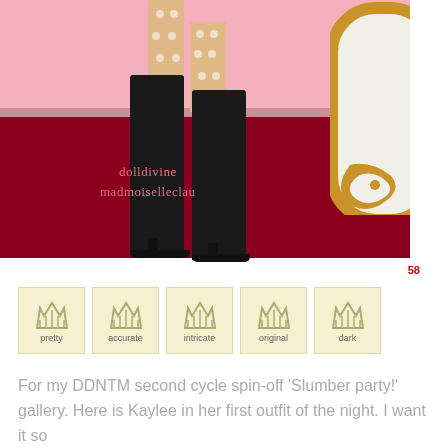[Figure (illustration): Digital fashion doll illustration showing legs in polka dot stockings and tall black high-heeled boots, set in a room with pink upper wall and dark red floor. A gold-framed mirror is partially visible on the right. Watermark text 'dolldivine madmoiselleclau' overlaid on image.]
58
[Figure (infographic): Five rating/badge icons in cream/yellow square backgrounds labeled: pretty, accurate, intricate, original, dark]
For my DDNTM second cycle spin-off 'Slumber party!' gallery. Here is Kaylee in her first outfit of the night. I want it so